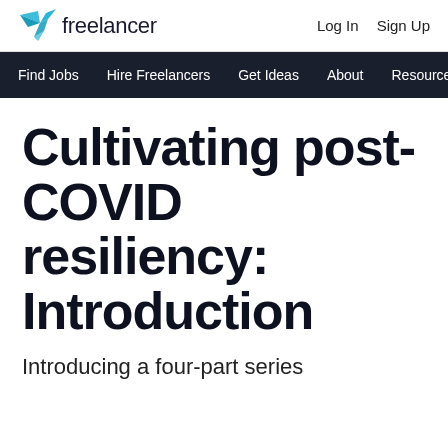Freelancer | Log In | Sign Up
Find Jobs  Hire Freelancers  Get Ideas  About  Resources
Cultivating post-COVID resiliency: Introduction
Introducing a four-part series